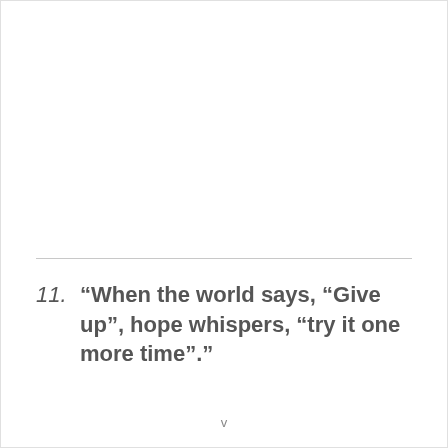11. “When the world says, “Give up”, hope whispers, “try it one more time”.”
v